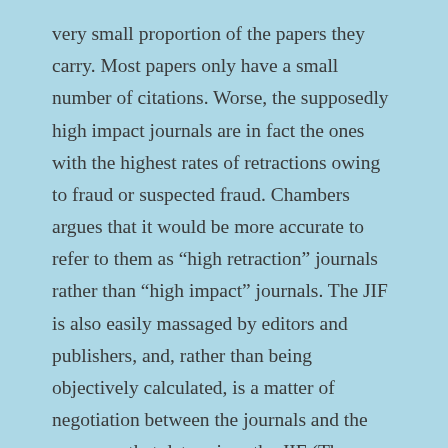very small proportion of the papers they carry. Most papers only have a small number of citations. Worse, the supposedly high impact journals are in fact the ones with the highest rates of retractions owing to fraud or suspected fraud. Chambers argues that it would be more accurate to refer to them as “high retraction” journals rather than “high impact” journals. The JIF is also easily massaged by editors and publishers, and, rather than being objectively calculated, is a matter of negotiation between the journals and the company that determines the JIF (Thomson Reuters).
Yet:
Despite all the evidence that JIF is more-or-less worthless, the psychological community has